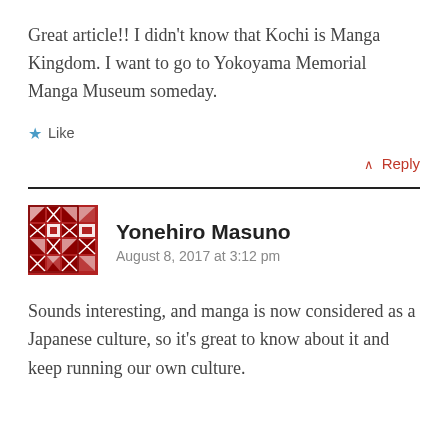Great article!! I didn't know that Kochi is Manga Kingdom. I want to go to Yokoyama Memorial Manga Museum someday.
Like
↑ Reply
Yonehiro Masuno
August 8, 2017 at 3:12 pm
Sounds interesting, and manga is now considered as a Japanese culture, so it's great to know about it and keep running our own culture.